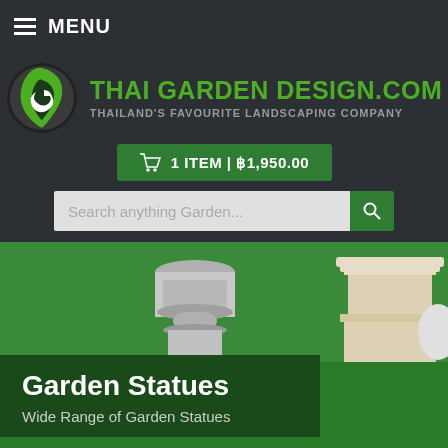MENU
[Figure (logo): Thai Garden Design logo: green circular leaf icon with the text THAI GARDEN DESIGN.COM in green bold font and tagline THAILAND'S FAVOURITE LANDSCAPING COMPANY in grey]
1 ITEM | ฿1,950.00
Search anything Garden...
[Figure (photo): Garden statues on green background - partial view of stone/concrete garden statue bases]
Garden Statues
Wide Range of Garden Statues